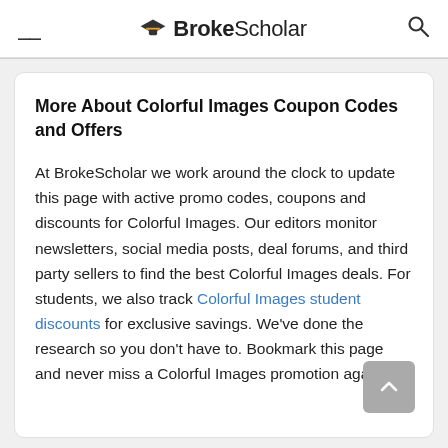BrokeScholar
More About Colorful Images Coupon Codes and Offers
At BrokeScholar we work around the clock to update this page with active promo codes, coupons and discounts for Colorful Images. Our editors monitor newsletters, social media posts, deal forums, and third party sellers to find the best Colorful Images deals. For students, we also track Colorful Images student discounts for exclusive savings. We've done the research so you don't have to. Bookmark this page and never miss a Colorful Images promotion again.